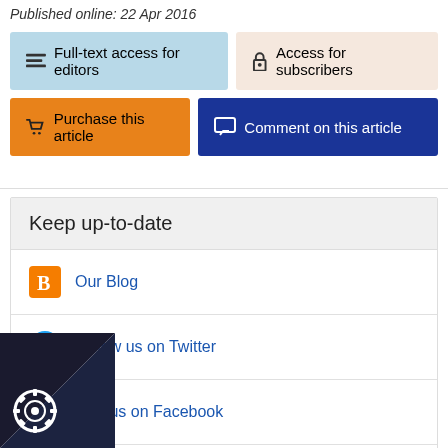Published online: 22 Apr 2016
Full-text access for editors
Access for subscribers
Purchase this article
Comment on this article
Keep up-to-date
Our Blog
Follow us on Twitter
Visit us on Facebook
Our Newsletter (subscribe for free)
SS Feeds